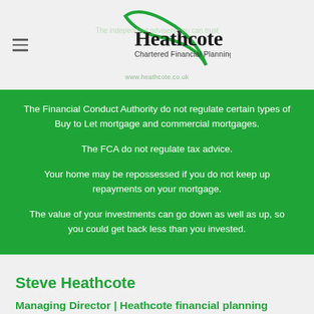[Figure (logo): Heathcote Chartered Financial Planning logo with green swoosh]
The Financial Conduct Authority do not regulate certain types of Buy to Let mortgage and commercial mortgages.
The FCA do not regulate tax advice.
Your home may be repossessed if you do not keep up repayments on your mortgage.
The value of your investments can go down as well as up, so you could get back less than you invested.
Steve Heathcote
Managing Director | Heathcote financial planning
Ross on Wye